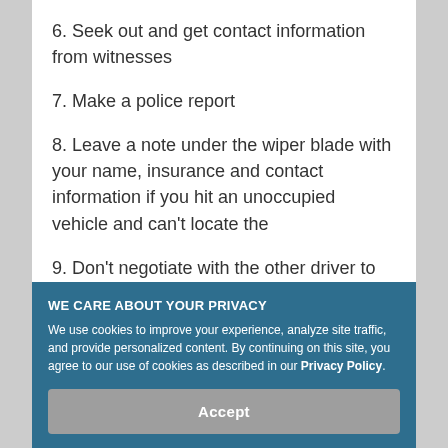6. Seek out and get contact information from witnesses
7. Make a police report
8. Leave a note under the wiper blade with your name, insurance and contact information if you hit an unoccupied vehicle and can't locate the
9. Don't negotiate with the other driver to work a deal without notifying insurance because they could still make a claim
WE CARE ABOUT YOUR PRIVACY
We use cookies to improve your experience, analyze site traffic, and provide personalized content. By continuing on this site, you agree to our use of cookies as described in our Privacy Policy.
Accept
Here are some critical things you need to know.